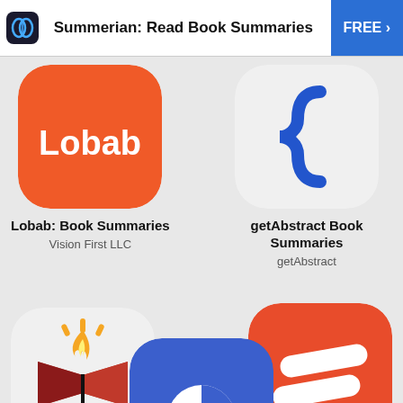Summermerian: Read Book Summaries  FREE >
[Figure (logo): Lobab app icon: orange rounded square with white 'Lobab' text]
Lobab: Book Summaries
Vision First LLC
[Figure (logo): getAbstract app icon: white rounded square with blue curly brace]
getAbstract Book Summaries
getAbstract
[Figure (logo): BlaklistEd app icon: white rounded square with open book and flame logo]
BlaklistEd
BlaklistEd LLC
[Figure (logo): StoryShots app icon: orange rounded square with stylized S letter]
StoryShots
Parsida
[Figure (logo): Partial blue rounded square app icon with pie chart graphic, partially cut off at bottom]